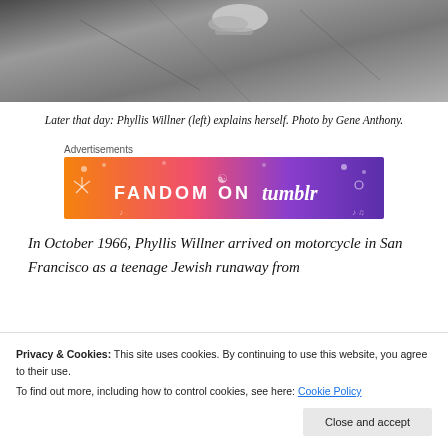[Figure (photo): Black and white photo showing feet/shoes on pavement, cropped at top of page]
Later that day: Phyllis Willner (left) explains herself. Photo by Gene Anthony.
[Figure (other): Fandom on Tumblr advertisement banner with orange to purple gradient and decorative icons]
In October 1966, Phyllis Willner arrived on motorcycle in San Francisco as a teenage Jewish runaway from
Privacy & Cookies: This site uses cookies. By continuing to use this website, you agree to their use. To find out more, including how to control cookies, see here: Cookie Policy